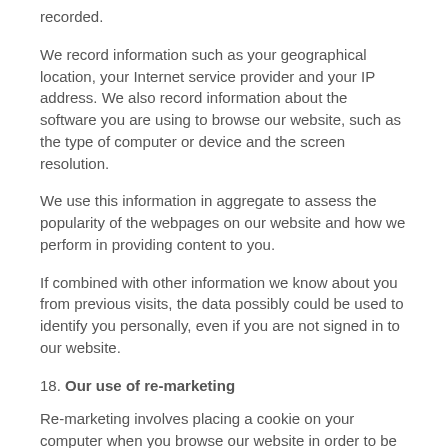recorded.
We record information such as your geographical location, your Internet service provider and your IP address. We also record information about the software you are using to browse our website, such as the type of computer or device and the screen resolution.
We use this information in aggregate to assess the popularity of the webpages on our website and how we perform in providing content to you.
If combined with other information we know about you from previous visits, the data possibly could be used to identify you personally, even if you are not signed in to our website.
18. Our use of re-marketing
Re-marketing involves placing a cookie on your computer when you browse our website in order to be able to serve to you an advert for our products or services when you visit some other